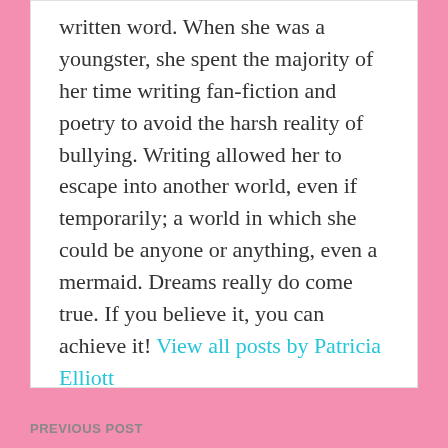written word. When she was a youngster, she spent the majority of her time writing fan-fiction and poetry to avoid the harsh reality of bullying. Writing allowed her to escape into another world, even if temporarily; a world in which she could be anyone or anything, even a mermaid. Dreams really do come true. If you believe it, you can achieve it! View all posts by Patricia Elliott
PREVIOUS POST